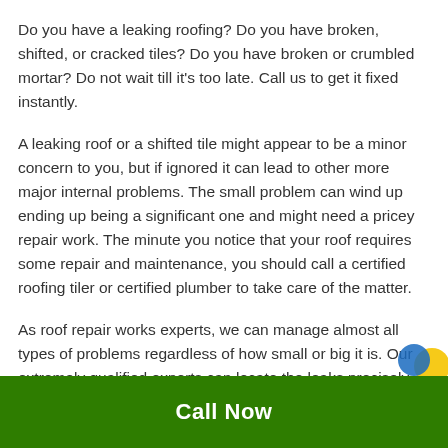Do you have a leaking roofing? Do you have broken, shifted, or cracked tiles? Do you have broken or crumbled mortar? Do not wait till it's too late. Call us to get it fixed instantly.
A leaking roof or a shifted tile might appear to be a minor concern to you, but if ignored it can lead to other more major internal problems. The small problem can wind up ending up being a significant one and might need a pricey repair work. The minute you notice that your roof requires some repair and maintenance, you should call a certified roofing tiler or certified plumber to take care of the matter.
As roof repair works experts, we can manage almost all types of problems regardless of how small or big it is. Our extremely qualified experts can locate the leaks precisely and fix them. They can recommend you the best possible
Call Now